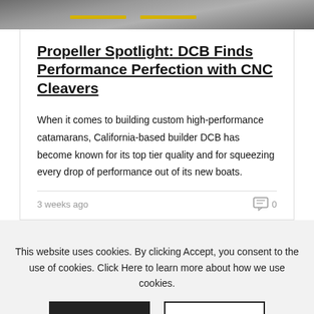[Figure (photo): Top portion of an image showing a road with yellow dividing lines, gray asphalt surface]
Propeller Spotlight: DCB Finds Performance Perfection with CNC Cleavers
When it comes to building custom high-performance catamarans, California-based builder DCB has become known for its top tier quality and for squeezing every drop of performance out of its new boats.
3 weeks ago
0
This website uses cookies. By clicking Accept, you consent to the use of cookies. Click Here to learn more about how we use cookies.
Accept
Reject